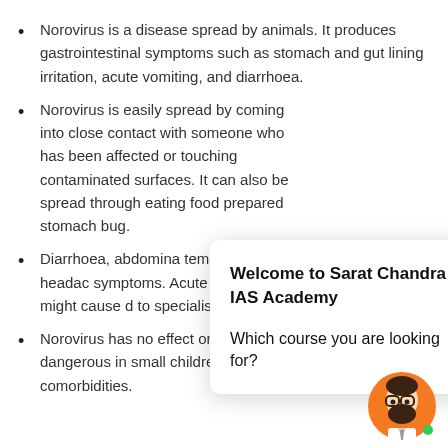Norovirus is a disease spread by animals. It produces gastrointestinal symptoms such as stomach and gut lining irritation, acute vomiting, and diarrhoea.
Norovirus is easily spread by coming into close contact with someone who has been affected or touching contaminated surfaces. It can also be spread through eating food prepared [partially hidden] stomach bug.
Diarrhoea, abdomina[l...] temperature, headac[he...] symptoms. Acute vo[miting, on the other] hand, might cause d[...] to specialists.
Norovirus has no effect on healthy people, but it can [be] dangerous in small children, the elderly, and those [with] comorbidities.
[Figure (screenshot): A popup dialog box with title 'Welcome to Sarat Chandra IAS Academy' and question 'Which course you are looking for?' with a close button in the top right corner.]
[Figure (illustration): An avatar/chatbot icon showing a cartoon man with glasses and beard on an orange circular background with a green dot.]